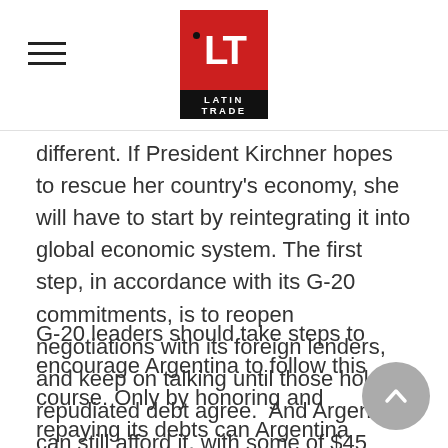Latin Trade logo with hamburger menu
different. If President Kirchner hopes to rescue her country's economy, she will have to start by reintegrating it into global economic system. The first step, in accordance with its G-20 commitments, is to reopen negotiations with its foreign lenders, and keep on talking until those holding repudiated debt agree.  And Argentina can still afford it, with some of $45 billion in foreign currency reserves.
G-20 leaders should take steps to encourage Argentina to follow this course. Only by honoring and repaying its debts can Argentina